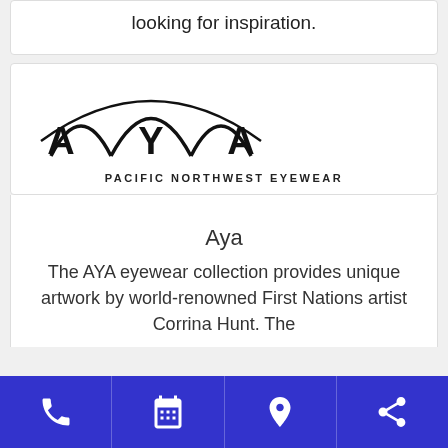looking for inspiration.
[Figure (logo): AYA Pacific Northwest Eyewear logo — stylized arching letters A Y A above the text PACIFIC NORTHWEST EYEWEAR]
Aya
The AYA eyewear collection provides unique artwork by world-renowned First Nations artist Corrina Hunt. The
Phone | Calendar | Location | Share